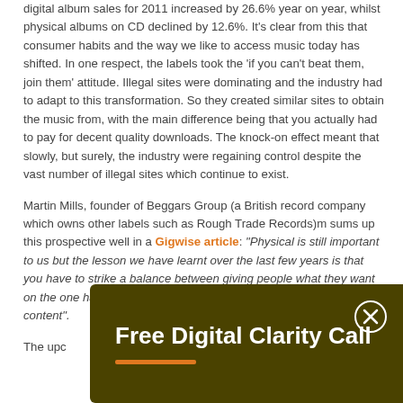digital album sales for 2011 increased by 26.6% year on year, whilst physical albums on CD declined by 12.6%. It's clear from this that consumer habits and the way we like to access music today has shifted. In one respect, the labels took the 'if you can't beat them, join them' attitude. Illegal sites were dominating and the industry had to adapt to this transformation. So they created similar sites to obtain the music from, with the main difference being that you actually had to pay for decent quality downloads. The knock-on effect meant that slowly, but surely, the industry were regaining control despite the vast number of illegal sites which continue to exist.
Martin Mills, founder of Beggars Group (a British record company which owns other labels such as Rough Trade Records)m sums up this prospective well in a Gigwise article: "Physical is still important to us but the lesson we have learnt over the last few years is that you have to strike a balance between giving people what they want on the one hand and actually being a business and charging for the content".
The upc... in the d... industry... and lab... paid in...
[Figure (other): Dark olive/brown overlay banner with white bold text reading 'Free Digital Clarity Call', an orange underline accent, and a close (X) button in the top right corner.]